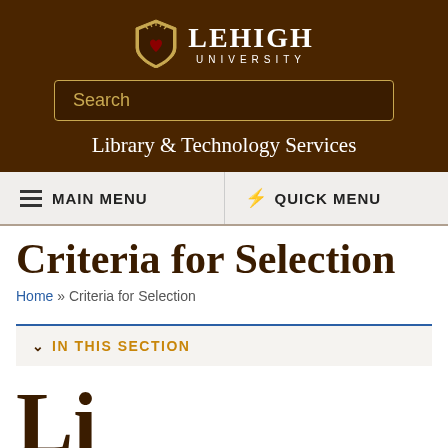[Figure (logo): Lehigh University shield logo with text LEHIGH UNIVERSITY]
Search
Library & Technology Services
≡ MAIN MENU
⚡ QUICK MENU
Criteria for Selection
Home » Criteria for Selection
IN THIS SECTION
Libra...